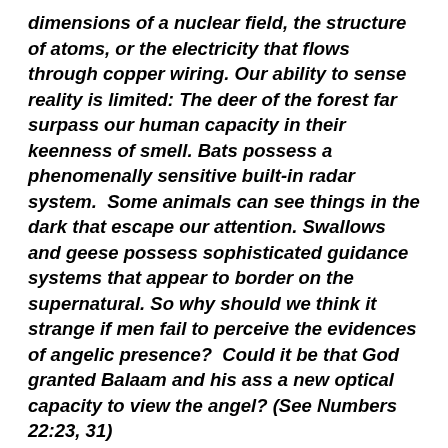dimensions of a nuclear field, the structure of atoms, or the electricity that flows through copper wiring. Our ability to sense reality is limited: The deer of the forest far surpass our human capacity in their keenness of smell. Bats possess a phenomenally sensitive built-in radar system.  Some animals can see things in the dark that escape our attention. Swallows and geese possess sophisticated guidance systems that appear to border on the supernatural. So why should we think it strange if men fail to perceive the evidences of angelic presence?  Could it be that God granted Balaam and his ass a new optical capacity to view the angel? (See Numbers 22:23, 31)
Reports continually flow to my attention from many places around the world telling of visitors of the